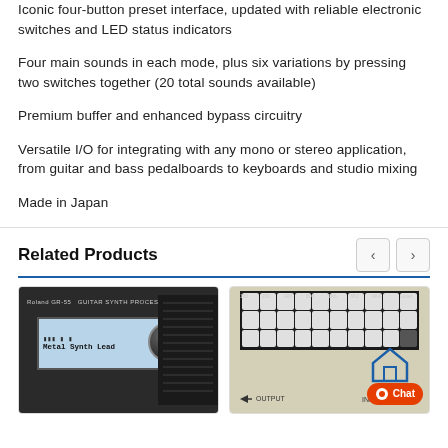Iconic four-button preset interface, updated with reliable electronic switches and LED status indicators
Four main sounds in each mode, plus six variations by pressing two switches together (20 total sounds available)
Premium buffer and enhanced bypass circuitry
Versatile I/O for integrating with any mono or stereo application, from guitar and bass pedalboards to keyboards and studio mixing
Made in Japan
Related Products
[Figure (photo): Roland guitar synthesizer/effects unit with dark body, blue LCD screen showing 'Metal Synth Lead' text, and large knob on right side]
[Figure (photo): Boss effects pedal with cream/beige body, grid of knobs/buttons on top, OUTPUT and INPUT labels at bottom, with chat widget overlay]